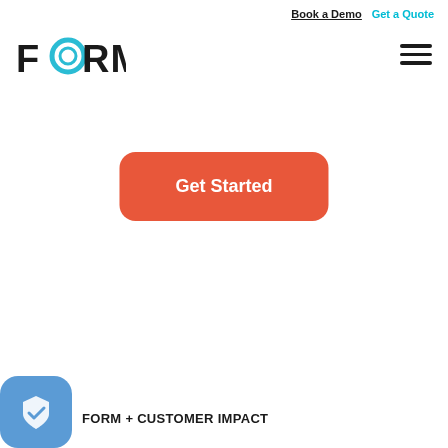Book a Demo   Get a Quote
[Figure (logo): FORM logo with stylized O in teal/blue circular icon]
[Figure (other): Hamburger menu icon - three horizontal lines]
Get Started
[Figure (other): Blue rounded square badge icon with white shield checkmark]
FORM + CUSTOMER IMPACT